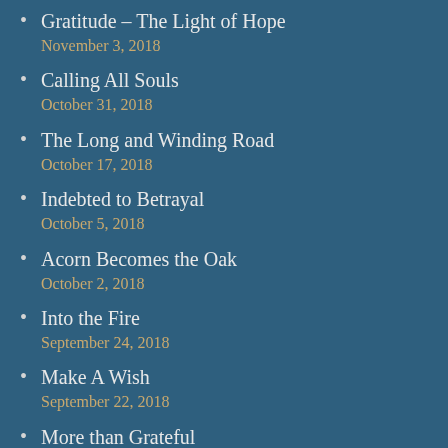Gratitude – The Light of Hope
November 3, 2018
Calling All Souls
October 31, 2018
The Long and Winding Road
October 17, 2018
Indebted to Betrayal
October 5, 2018
Acorn Becomes the Oak
October 2, 2018
Into the Fire
September 24, 2018
Make A Wish
September 22, 2018
More than Grateful
September 17, 2018